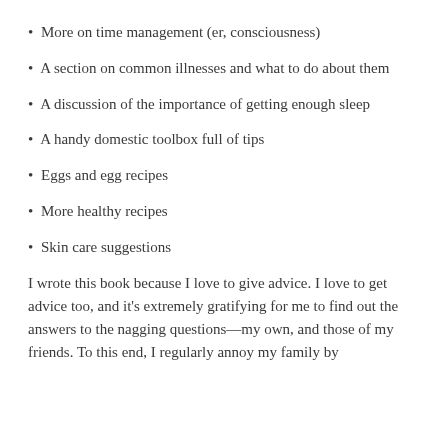More on time management (er, consciousness)
A section on common illnesses and what to do about them
A discussion of the importance of getting enough sleep
A handy domestic toolbox full of tips
Eggs and egg recipes
More healthy recipes
Skin care suggestions
I wrote this book because I love to give advice. I love to get advice too, and it’s extremely gratifying for me to find out the answers to the nagging questions—my own, and those of my friends. To this end, I regularly annoy my family by